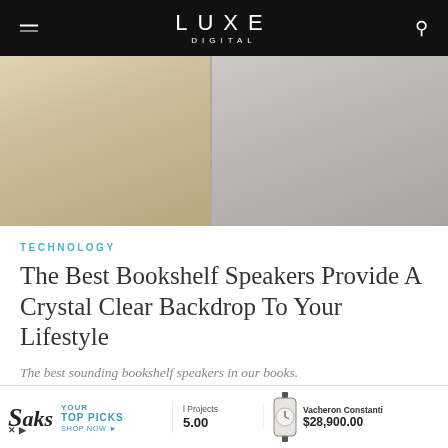LUXE DIGITAL
[Figure (photo): Hero image split in two: left side shows a beige/cream textured fabric or upholstery surface, right side shows a grey concrete or stone surface, separated by a vertical line.]
TECHNOLOGY
The Best Bookshelf Speakers Provide A Crystal Clear Backdrop To Your Lifestyle
The best sounding bookshelf speakers in our books.
by Georgina Dorlian
Published
[Figure (advertisement): Advertisement bar at bottom: Saks Fifth Avenue ad with YOUR TOP PICKS SHOP NOW text, a price of 5.00, a watch image, Vacheron Constantin brand and price $28,900.00]